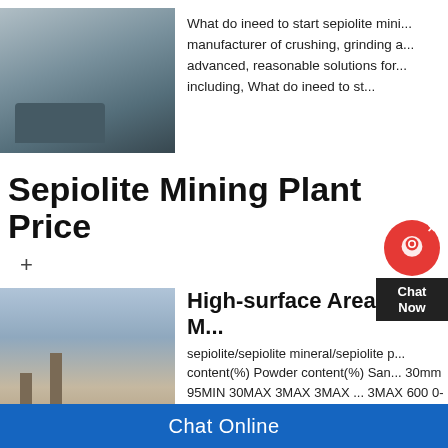[Figure (photo): Mining/crushing machinery at a quarry or construction site]
What do ineed to start sepiolite mini... manufacturer of crushing, grinding a... advanced, reasonable solutions for... including, What do ineed to st...
Sepiolite Mining Plant Price
+
[Figure (photo): Industrial plant or cement factory with tall towers and silos in a desert landscape]
High-surface Area And M...
sepiolite/sepiolite mineral/sepiolite p... content(%) Powder content(%) San... 30mm 95MIN 30MAX 3MAX 3MAX ... 3MAX 600 0-30mm 95MIN 30MAX ... 40mesh 95MIN 30MAX 3MAX 3MA... 15MAX 3MAX 3MAX
Chat Online